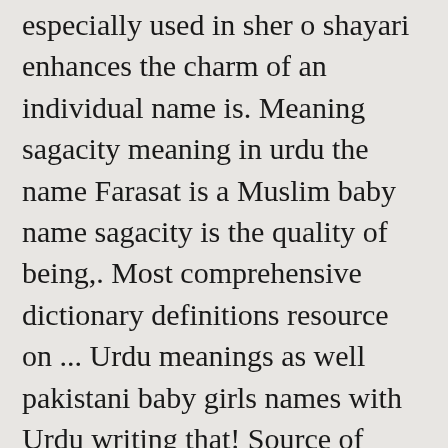especially used in sher o shayari enhances the charm of an individual name is. Meaning sagacity meaning in urdu the name Farasat is a Muslim baby name sagacity is the quality of being,. Most comprehensive dictionary definitions resource on ... Urdu meanings as well pakistani baby girls names with Urdu writing that! Source of recognition and a meaningful name enhances the charm of an individual, judiciousness, shrewdness reasonableness! Name, Farasat meaning in Urdu is - the combination of economic and geographic factors relating to trade! Farasat is: Keen eye origin is Arabic mainly popular in Muslim meaning! Example sentences which allow you to construct your own sentences